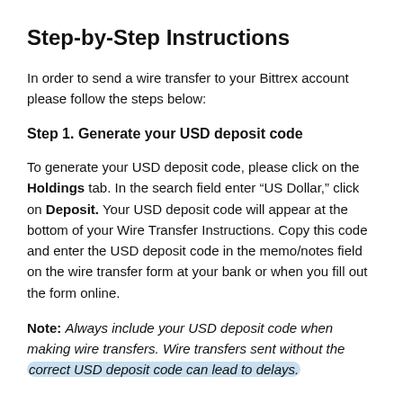Step-by-Step Instructions
In order to send a wire transfer to your Bittrex account please follow the steps below:
Step 1. Generate your USD deposit code
To generate your USD deposit code, please click on the Holdings tab. In the search field enter “US Dollar,” click on Deposit. Your USD deposit code will appear at the bottom of your Wire Transfer Instructions. Copy this code and enter the USD deposit code in the memo/notes field on the wire transfer form at your bank or when you fill out the form online.
Note: Always include your USD deposit code when making wire transfers. Wire transfers sent without the correct USD deposit code can lead to delays.